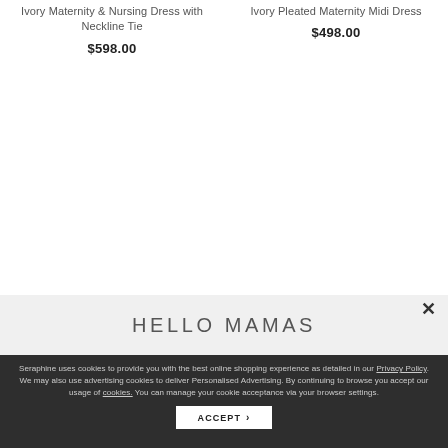Ivory Maternity & Nursing Dress with Neckline Tie
$598.00
Ivory Pleated Maternity Midi Dress
$498.00
HELLO MAMAS
Seraphine uses cookies to provide you with the best online shopping experience as detailed in our Privacy Policy. We may also use advertising cookies to deliver Personalised Advertising. By continuing to browse you accept our usage of cookies. You can manage your cookie acceptance via your browser settings.
ACCEPT